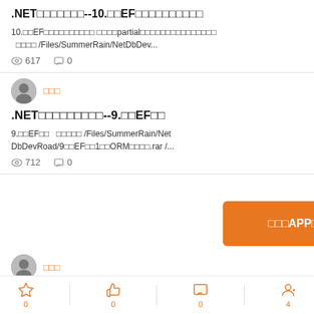.NET数据库开发之路--10.用EF进行数据库开发
10.用EF进行数据库开发 使用partial类进行数据库开发的技巧与方法 /Files/SummerRain/NetDbDev...
617  0
唐汉明
.NET数据库开发之路--9.用EF框架
9.用EF框架  /Files/SummerRain/Net DbDevRoad/9用EF框架1用ORM框架说明.rar /...
712  0
[Figure (other): Orange button: 下载APP体验更多]
唐汉明
Bottom bar icons: star 0, thumb-up 0, comment 0, user 4